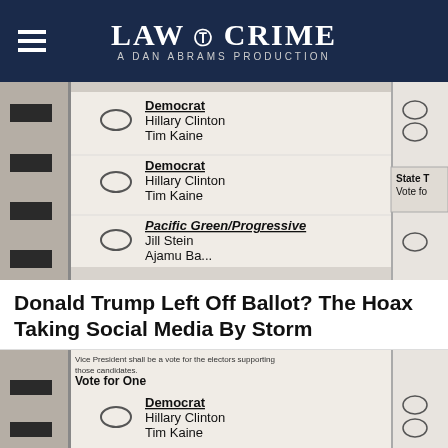LAW & CRIME — A DAN ABRAMS PRODUCTION
[Figure (photo): Close-up photo of a ballot showing Democrat Hillary Clinton Tim Kaine listed twice, and Pacific Green/Progressive Jill Stein Ajamu Baraka, with oval bubbles for selection]
Donald Trump Left Off Ballot? The Hoax Taking Social Media By Storm
[Figure (photo): Close-up photo of a ballot showing text 'Vice President shall be a vote for the electors supporting those candidates. Vote for One' and Democrat Hillary Clinton Tim Kaine listed, and another Democrat entry partially visible with State text on right]